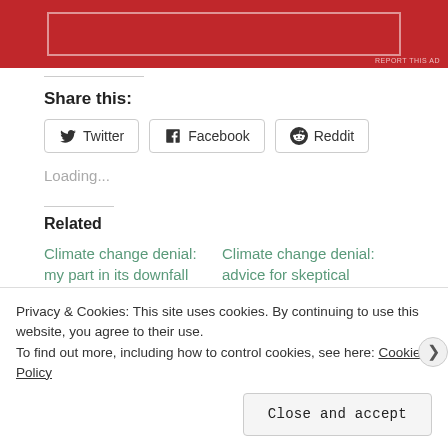[Figure (other): Red advertisement banner with white inner border rectangle and 'REPORT THIS AD' text in bottom right]
Share this:
Twitter  Facebook  Reddit
Loading...
Related
Climate change denial: my part in its downfall
Climate change denial: advice for skeptical
Privacy & Cookies: This site uses cookies. By continuing to use this website, you agree to their use.
To find out more, including how to control cookies, see here: Cookie Policy
Close and accept